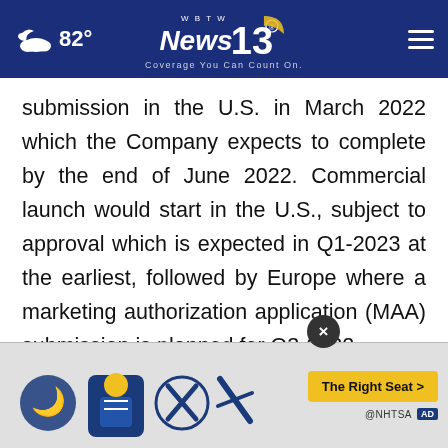82° — News 13 WBTW — Coverage You Can Count On.
submission in the U.S. in March 2022 which the Company expects to complete by the end of June 2022. Commercial launch would start in the U.S., subject to approval which is expected in Q1-2023 at the earliest, followed by Europe where a marketing authorization application (MAA) submission is planned for Q3-2022.
Establishing market readiness and transitioning Santhera to the commercial stage
[Figure (infographic): Advertisement banner with NHTSA safety seat icons and The Right Seat button, partially covering text. Close button (×) visible above banner.]